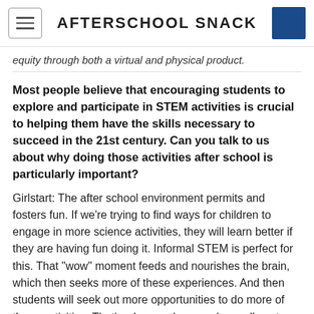AFTERSCHOOL SNACK
equity through both a virtual and physical product.
Most people believe that encouraging students to explore and participate in STEM activities is crucial to helping them have the skills necessary to succeed in the 21st century. Can you talk to us about why doing those activities after school is particularly important?
Girlstart: The after school environment permits and fosters fun. If we're trying to find ways for children to engage in more science activities, they will learn better if they are having fun doing it. Informal STEM is perfect for this. That “wow” moment feeds and nourishes the brain, which then seeks more of these experiences. And then students will seek out more opportunities to do more of these activities. That’s when we know we’ve really got a girl connected: when STEM becomes personal for her, and she sees STEM